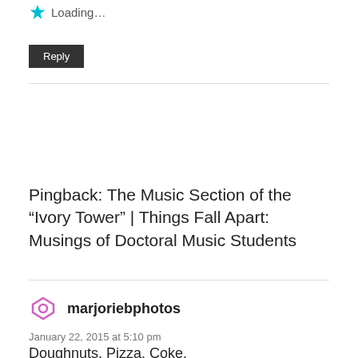Loading...
Reply
Pingback: The Music Section of the “Ivory Tower” | Things Fall Apart: Musings of Doctoral Music Students
marjoriebphotos
January 22, 2015 at 5:10 pm
Doughnuts. Pizza. Coke.